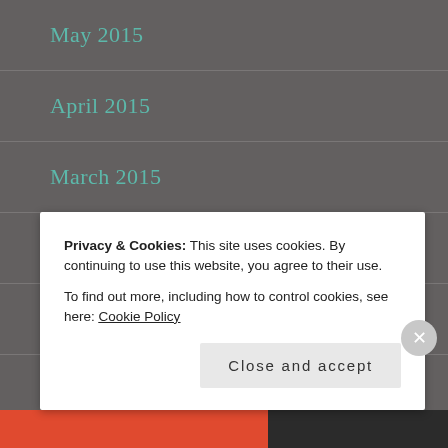May 2015
April 2015
March 2015
February 2015
January 2015
Privacy & Cookies: This site uses cookies. By continuing to use this website, you agree to their use.
To find out more, including how to control cookies, see here: Cookie Policy
Close and accept